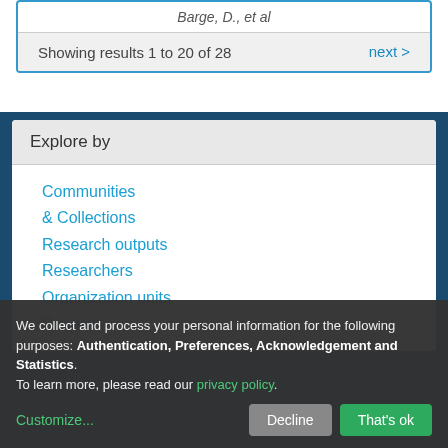Barge, D., et al
Showing results 1 to 20 of 28
next >
Explore by
Communities & Collections
Research outputs
Researchers
Organization units
Projects
We collect and process your personal information for the following purposes: Authentication, Preferences, Acknowledgement and Statistics. To learn more, please read our privacy policy.
Customize...
Decline
That's ok